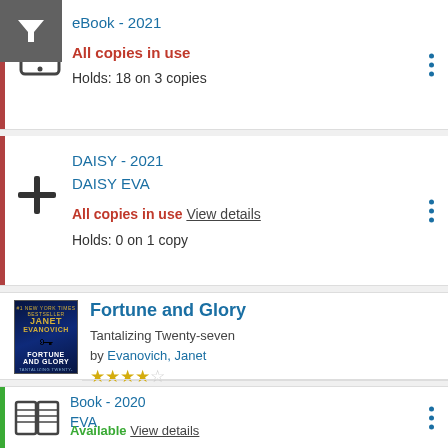[Figure (screenshot): Filter funnel icon button on grey background]
eBook - 2021
All copies in use
Holds: 18 on 3 copies
DAISY - 2021
DAISY EVA
All copies in use  View details
Holds: 0 on 1 copy
[Figure (photo): Book cover: Fortune and Glory by Janet Evanovich, Tantalizing Twenty-seven]
Fortune and Glory
Tantalizing Twenty-seven
by Evanovich, Janet
★★★★☆
Book - 2020
EVA
Available  View details